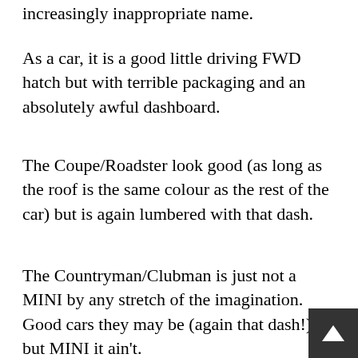increasingly inappropriate name.
As a car, it is a good little driving FWD hatch but with terrible packaging and an absolutely awful dashboard.
The Coupe/Roadster look good (as long as the roof is the same colour as the rest of the car) but is again lumbered with that dash.
The Countryman/Clubman is just not a MINI by any stretch of the imagination. Good cars they may be (again that dash!) but MINI it ain't.